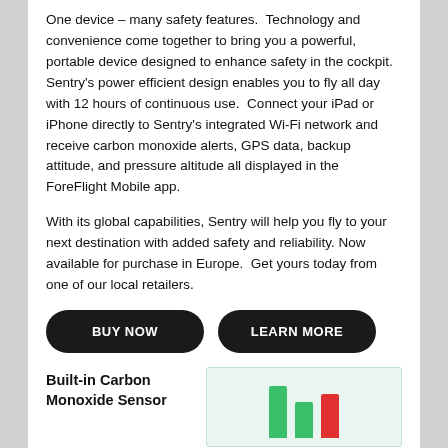One device – many safety features. Technology and convenience come together to bring you a powerful, portable device designed to enhance safety in the cockpit. Sentry's power efficient design enables you to fly all day with 12 hours of continuous use. Connect your iPad or iPhone directly to Sentry's integrated Wi-Fi network and receive carbon monoxide alerts, GPS data, backup attitude, and pressure altitude all displayed in the ForeFlight Mobile app.
With its global capabilities, Sentry will help you fly to your next destination with added safety and reliability. Now available for purchase in Europe. Get yours today from one of our local retailers.
[Figure (other): Two black pill-shaped buttons: 'BUY NOW' and 'LEARN MORE']
Built-in Carbon Monoxide Sensor
[Figure (bar-chart): Bar chart with green and red bars on a light teal background, partially visible at the bottom of the page]